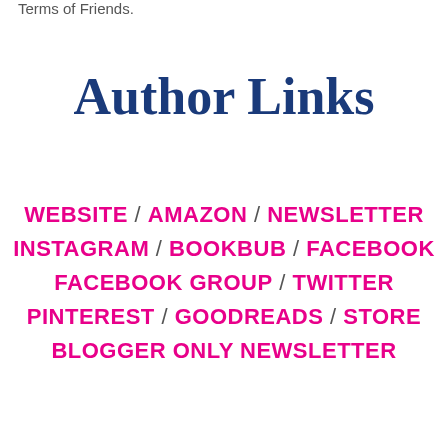Terms of Friends.
Author Links
WEBSITE / AMAZON / NEWSLETTER INSTAGRAM / BOOKBUB / FACEBOOK FACEBOOK GROUP / TWITTER PINTEREST / GOODREADS / STORE BLOGGER ONLY NEWSLETTER